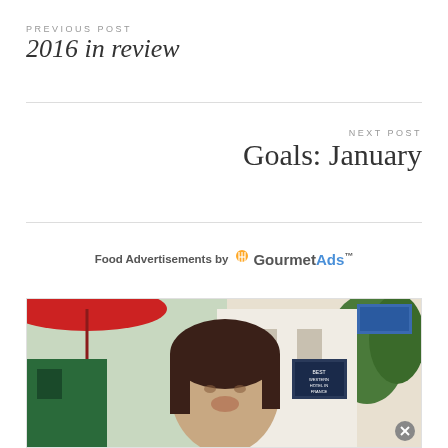PREVIOUS POST
2016 in review
NEXT POST
Goals: January
Food Advertisements by GourmetAds™
[Figure (photo): A woman with dark hair outdoors, red umbrella visible in background, green trees, European-looking street setting]